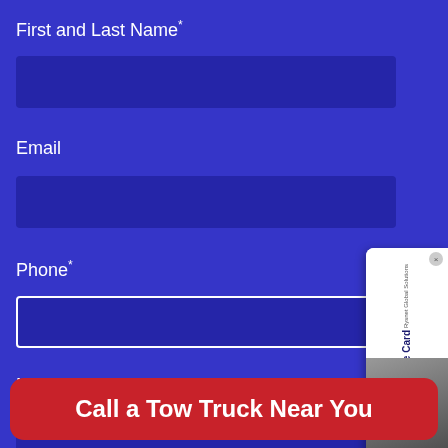First and Last Name *
[Figure (screenshot): Text input field for First and Last Name, dark blue filled rounded rectangle]
Email
[Figure (screenshot): Text input field for Email, dark blue filled rounded rectangle]
Phone *
[Figure (screenshot): Text input field for Phone, dark blue filled rounded rectangle with white border outline]
Message
[Figure (screenshot): Textarea field for Message, dark blue filled rounded rectangle]
[Figure (screenshot): Ad card overlay on right side showing Rysnet Global Solutions Assurance Card with orange arrow button]
Call a Tow Truck Near You